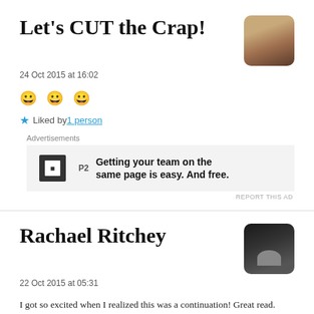Let's CUT the Crap!
24 Oct 2015 at 16:02
😀 😀 😀
Liked by 1 person
Advertisements
[Figure (other): P2 advertisement banner: Getting your team on the same page is easy. And free.]
Rachael Ritchey
22 Oct 2015 at 05:31
I got so excited when I realized this was a continuation! Great read. I got totally in the right position on with Mr. Rick Barrack. S...